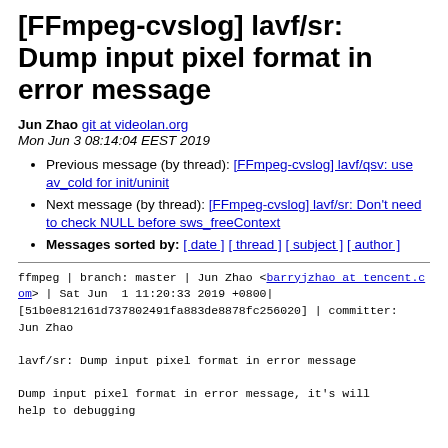[FFmpeg-cvslog] lavf/sr: Dump input pixel format in error message
Jun Zhao git at videolan.org
Mon Jun 3 08:14:04 EEST 2019
Previous message (by thread): [FFmpeg-cvslog] lavf/qsv: use av_cold for init/uninit
Next message (by thread): [FFmpeg-cvslog] lavf/sr: Don't need to check NULL before sws_freeContext
Messages sorted by: [ date ] [ thread ] [ subject ] [ author ]
ffmpeg | branch: master | Jun Zhao <barryjzhao at tencent.com> | Sat Jun  1 11:20:33 2019 +0800| [51b0e812161d737802491fa883de8878fc256020] | committer: Jun Zhao

lavf/sr: Dump input pixel format in error message

Dump input pixel format in error message, it's will help to debugging